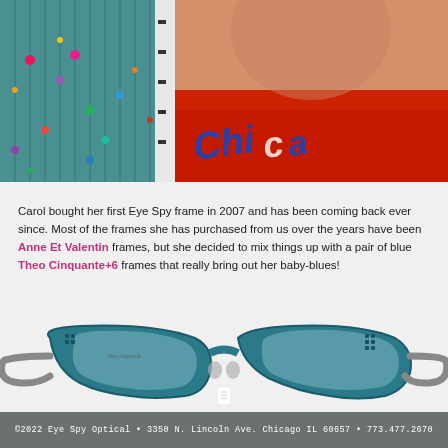[Figure (photo): Top portion showing a person in a red Chicago Cubs t-shirt on the right, and on the left a colorful bead display with teal background]
Carol bought her first Eye Spy frame in 2007 and has been coming back ever since. Most of the frames she has purchased from us over the years have been Anne Et Valentin frames, but she decided to mix things up with a pair of blue Theo Cinquante+6 frames that really bring out her baby-blues!
[Figure (photo): Close-up product photo of blue Theo Cinquante+6 eyeglass frames with teal/blue textured finish and gray temples on white background]
©2022 Eye Spy Optical • 3350 N. Lincoln Ave. Chicago IL 60657 • 773.477.2670